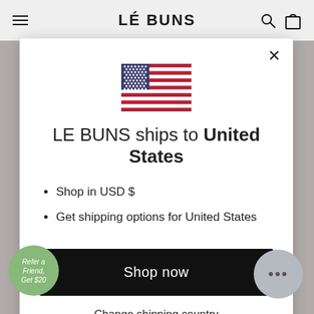LÉ BUNS
[Figure (illustration): US flag emoji/icon centered in modal]
LE BUNS ships to United States
Shop in USD $
Get shipping options for United States
Shop now
Change shipping country
Refer a Friend, Get $20
...